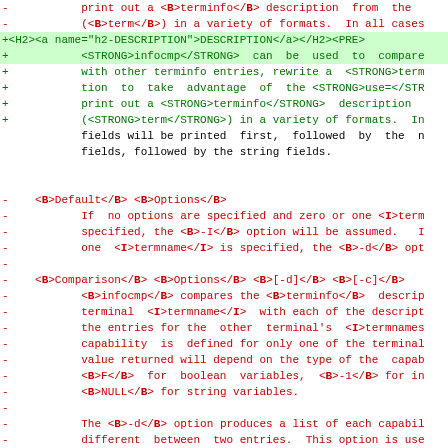[Figure (screenshot): A diff/patch view of code changes to a man page or HTML document, showing removed lines in red (prefixed with -) and added lines in green (prefixed with +), with some lines highlighted in green background. Content includes HTML markup for terminfo/infocmp man page sections.]